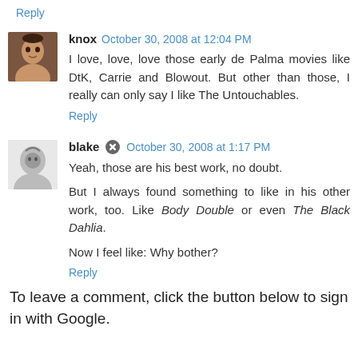Reply
knox  October 30, 2008 at 12:04 PM
I love, love, love those early de Palma movies like DtK, Carrie and Blowout. But other than those, I really can only say I like The Untouchables.
Reply
blake  October 30, 2008 at 1:17 PM
Yeah, those are his best work, no doubt.
But I always found something to like in his other work, too. Like Body Double or even The Black Dahlia.
Now I feel like: Why bother?
Reply
To leave a comment, click the button below to sign in with Google.